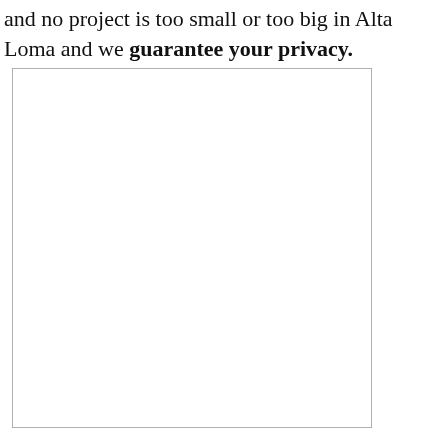and no project is too small or too big in Alta Loma and we guarantee your privacy.
[Figure (other): Large empty white rectangle with a light gray border, appearing to be a placeholder image or blank content area.]